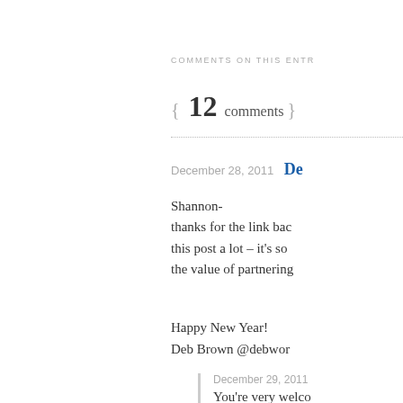COMMENTS ON THIS ENTR
{ 12 comments }
December 28, 2011  De
Shannon-
thanks for the link bac
this post a lot – it's so
the value of partnering
Happy New Year!
Deb Brown @debwor
December 29, 2011
You're very welco